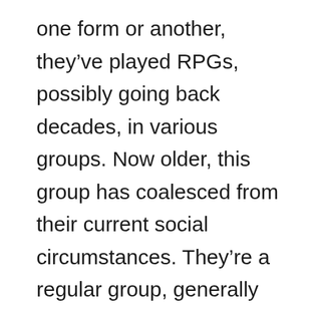one form or another, they've played RPGs, possibly going back decades, in various groups. Now older, this group has coalesced from their current social circumstances. They're a regular group, generally playing one game at a time, with one GM, until the story completes. They're past 'power leveling' as a way to mark achievements, but appreciate progression as a marking of progress at some lecvel. This group is probably far